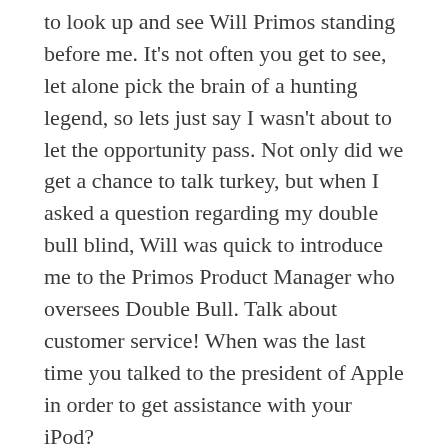to look up and see Will Primos standing before me. It's not often you get to see, let alone pick the brain of a hunting legend, so lets just say I wasn't about to let the opportunity pass. Not only did we get a chance to talk turkey, but when I asked a question regarding my double bull blind, Will was quick to introduce me to the Primos Product Manager who oversees Double Bull. Talk about customer service! When was the last time you talked to the president of Apple in order to get assistance with your iPod?
So, this one encounter is cool to be sure, but it does not exactly explain in detail why the NWTF Convention is so awesome. And yet at the same time, you can begin to paint a picture of what makes the convention such an attraction. Occurrences like the one I laid out above happen frequently, and if you'd like to talk to your favorite